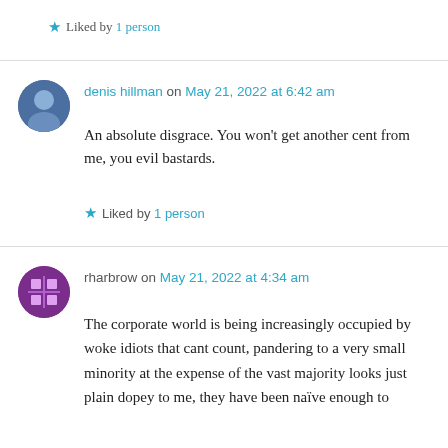★ Liked by 1 person
denis hillman on May 21, 2022 at 6:42 am
An absolute disgrace. You won't get another cent from me, you evil bastards.
★ Liked by 1 person
rharbrow on May 21, 2022 at 4:34 am
The corporate world is being increasingly occupied by woke idiots that cant count, pandering to a very small minority at the expense of the vast majority looks just plain dopey to me, they have been naïve enough to